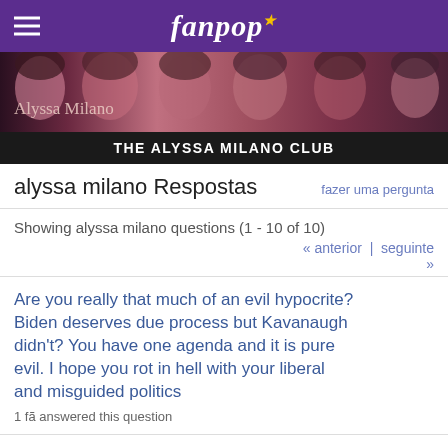fanpop
[Figure (photo): Alyssa Milano fan club banner with multiple photos of the actress]
THE ALYSSA MILANO CLUB
alyssa milano Respostas
fazer uma pergunta
Showing alyssa milano questions (1 - 10 of 10)
« anterior | seguinte »
Are you really that much of an evil hypocrite? Biden deserves due process but Kavanaugh didn't? You have one agenda and it is pure evil. I hope you rot in hell with your liberal and misguided politics
1 fã answered this question
Are you really running for public office? Why would anyone vote for a mindless twit like you?
No one has answered this question yet
i amor your work are you going to do another